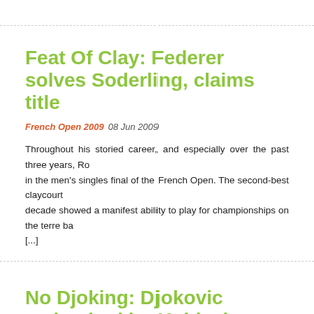Feat Of Clay: Federer solves Soderling, claims title
French Open 2009 08 Jun 2009
Throughout his storied career, and especially over the past three years, Ro... in the men's singles final of the French Open. The second-best claycourt... decade showed a manifest ability to play for championships on the terre ba... [...]
No Djoking: Djokovic ambushed by Kohlschr... earthshaking upset
French Open 2009 01 Jun 2009
Over the past month and a half, only Rafael Nadal had played better clayco... a stunning Saturday afternoon in Paris, the Serbian superstar wasn't as...